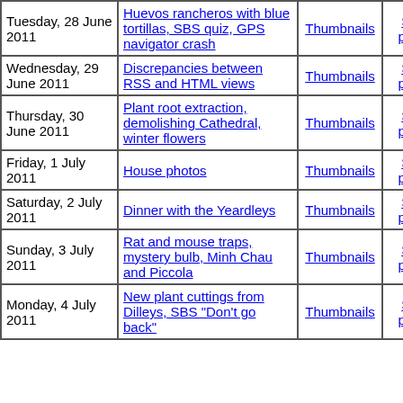| Date | Title | Thumbnails | Small photos | diary |
| --- | --- | --- | --- | --- |
| Tuesday, 28 June 2011 | Huevos rancheros with blue tortillas, SBS quiz, GPS navigator crash | Thumbnails | Small photos | diary |
| Wednesday, 29 June 2011 | Discrepancies between RSS and HTML views | Thumbnails | Small photos | diary |
| Thursday, 30 June 2011 | Plant root extraction, demolishing Cathedral, winter flowers | Thumbnails | Small photos | diary |
| Friday, 1 July 2011 | House photos | Thumbnails | Small photos | diary |
| Saturday, 2 July 2011 | Dinner with the Yeardleys | Thumbnails | Small photos | diary |
| Sunday, 3 July 2011 | Rat and mouse traps, mystery bulb, Minh Chau and Piccola | Thumbnails | Small photos | diary |
| Monday, 4 July 2011 | New plant cuttings from Dilleys, SBS "Don't go back" | Thumbnails | Small photos | diary |